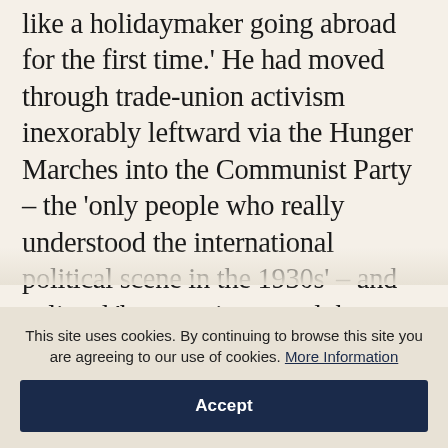like a holidaymaker going abroad for the first time.' He had moved through trade-union activism inexorably leftward via the Hunger Marches into the Communist Party – the 'only people who really understood the international political scene in the 1930s' – and enlisted 'because it seemed the natural thing to do.' He fought in most of the major battles of the war and was thrice wounded, on the last occasion being hijacked out of hospital and bundled, still bandaged, back into the line; he was captured, sentenced to death, and finally
This site uses cookies. By continuing to browse this site you are agreeing to our use of cookies. More Information
Accept